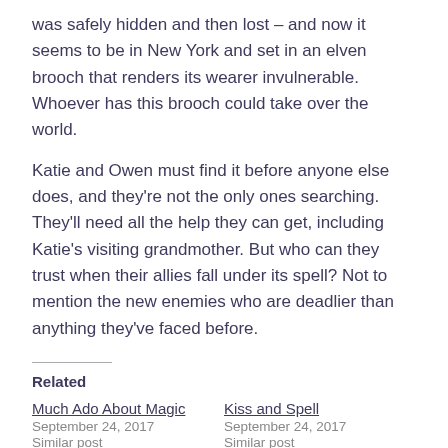was safely hidden and then lost – and now it seems to be in New York and set in an elven brooch that renders its wearer invulnerable. Whoever has this brooch could take over the world.
Katie and Owen must find it before anyone else does, and they're not the only ones searching. They'll need all the help they can get, including Katie's visiting grandmother. But who can they trust when their allies fall under its spell? Not to mention the new enemies who are deadlier than anything they've faced before.
Related
Much Ado About Magic
September 24, 2017
Similar post
Kiss and Spell
September 24, 2017
Similar post
Don't Hex with Texas